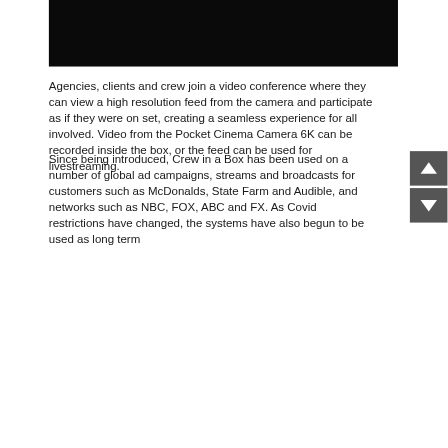[Figure (photo): Dark/black image, appears to be a photograph with very dark tones, possibly a film/cinema still]
Agencies, clients and crew join a video conference where they can view a high resolution feed from the camera and participate as if they were on set, creating a seamless experience for all involved. Video from the Pocket Cinema Camera 6K can be recorded inside the box, or the feed can be used for livestreaming.
Since being introduced, Crew in a Box has been used on a number of global ad campaigns, streams and broadcasts for customers such as McDonalds, State Farm and Audible, and networks such as NBC, FOX, ABC and FX. As Covid restrictions have changed, the systems have also begun to be used as long term